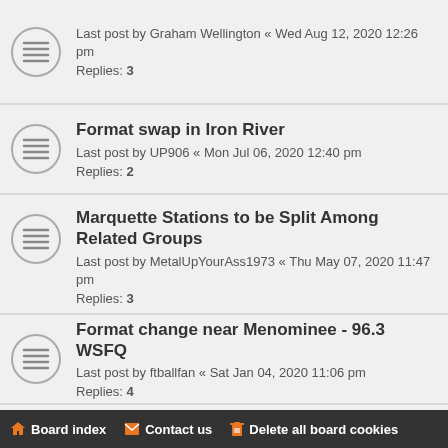Last post by Graham Wellington « Wed Aug 12, 2020 12:26 pm
Replies: 3
Format swap in Iron River
Last post by UP906 « Mon Jul 06, 2020 12:40 pm
Replies: 2
Marquette Stations to be Split Among Related Groups
Last post by MetalUpYourAss1973 « Thu May 07, 2020 11:47 pm
Replies: 3
Format change near Menominee - 96.3 WSFQ
Last post by ftballfan « Sat Jan 04, 2020 11:06 pm
Replies: 4
106.3 Outlaw
Last post by fairbankshockeypuck « Wed Nov 13, 2019 8:29 pm
Replies: 2
Board index   Contact us   Delete all board cookies